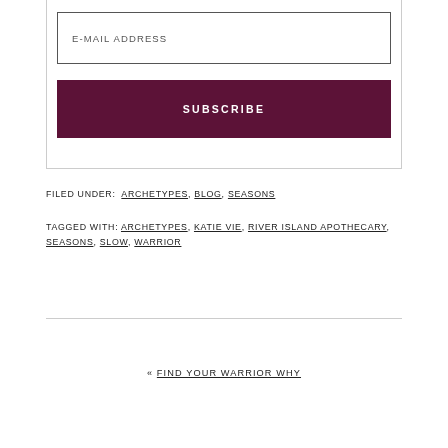E-MAIL ADDRESS
SUBSCRIBE
FILED UNDER: ARCHETYPES, BLOG, SEASONS
TAGGED WITH: ARCHETYPES, KATIE VIE, RIVER ISLAND APOTHECARY, SEASONS, SLOW, WARRIOR
« FIND YOUR WARRIOR WHY